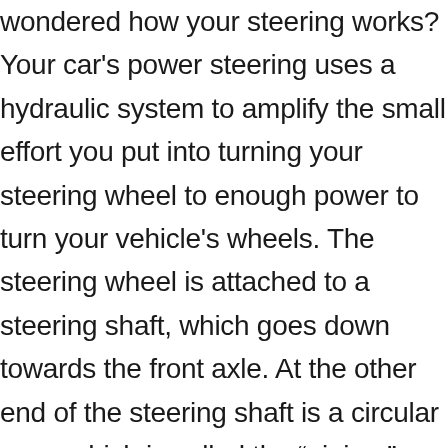wondered how your steering works? Your car's power steering uses a hydraulic system to amplify the small effort you put into turning your steering wheel to enough power to turn your vehicle's wheels. The steering wheel is attached to a steering shaft, which goes down towards the front axle. At the other end of the steering shaft is a circular gear, which is called the “pinion.” The pinion interlocks with the rack, which is a straight gear that connects to the steering arms of your car’s wheels through tie rods. When you turn your steering wheel, the pinion rotates, which causes the rack to move either left or right, and your wheels move accordingly. We at Bob Kaiser's Repair Inc know exactly how your vehicle's steering system works and can make the appropriate repairs if needed